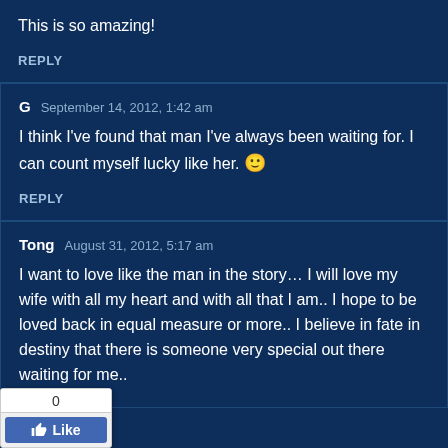This is so amazing!
REPLY
G   September 14, 2012, 1:42 am
I think I've found that man I've always been waiting for. I can count myself lucky like her. 🙂
REPLY
Tong   August 31, 2012, 5:17 am
I want to love like the man in the story… I will love my wife with all my heart and with all that I am.. I hope to be loved back in equal measure or more.. I believe in fate in destiny that there is someone very special out there waiting for me..